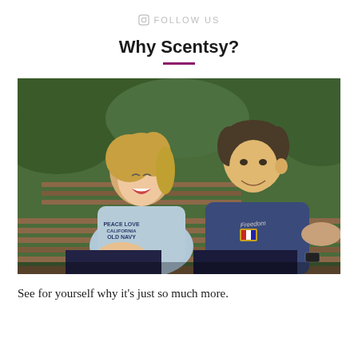FOLLOW US
Why Scentsy?
[Figure (photo): A smiling couple sitting on a wooden bench outdoors with green foliage background. The woman (left) wears a light blue Old Navy t-shirt and is laughing. The man (right) wears a dark blue Freedom graphic t-shirt and smiles at the woman.]
See for yourself why it's just so much more.